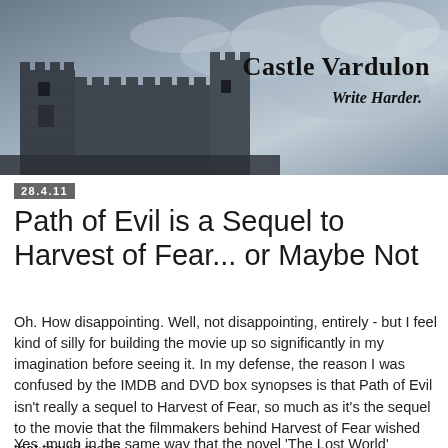[Figure (illustration): Castle Vardulon blog banner with a dark castle silhouette on a stormy grey sky background. Text reads 'Castle Vardulon' and 'Write Harder.']
28.4.11
Path of Evil is a Sequel to Harvest of Fear... or Maybe Not
Oh. How disappointing. Well, not disappointing, entirely - but I feel kind of silly for building the movie up so significantly in my imagination before seeing it. In my defense, the reason I was confused by the IMDB and DVD box synopses is that Path of Evil isn't really a sequel to Harvest of Fear, so much as it's the sequel to the movie that the filmmakers behind Harvest of Fear wished that they'd made.
Yes, much in the same way that the novel 'The Lost World'